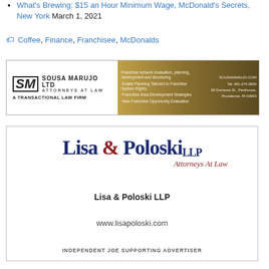What's Brewing: $15 an Hour Minimum Wage, McDonald's Secrets, New York March 1, 2021
Coffee, Finance, Franchisee, McDonalds
[Figure (advertisement): Sousa Marujo Ltd Attorneys at Law – A Transactional Law Firm banner ad with franchise services listed and contact info: SOUSAMARUJO.COM, Tel: 401-274-0500, 28 Dorrance St., Penthouse, Providence, RI 02903]
[Figure (advertisement): Lisa & Poloski LLP Attorneys At Law ad with firm name, website www.lisapoloski.com, and text INDEPENDENT JOE SUPPORTING ADVERTISER]